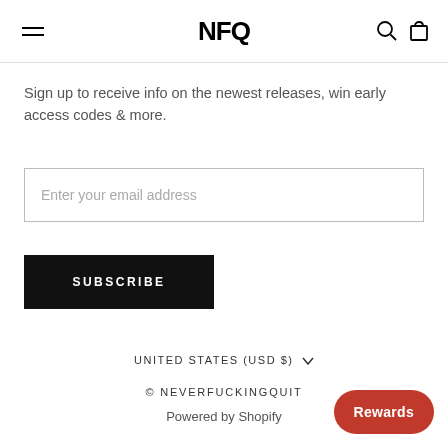NFQ
Sign up to receive info on the newest releases, win early access codes & more.
Enter your email address
SUBSCRIBE
UNITED STATES (USD $)
© NEVERFUCKINGQUIT
Powered by Shopify
Rewards